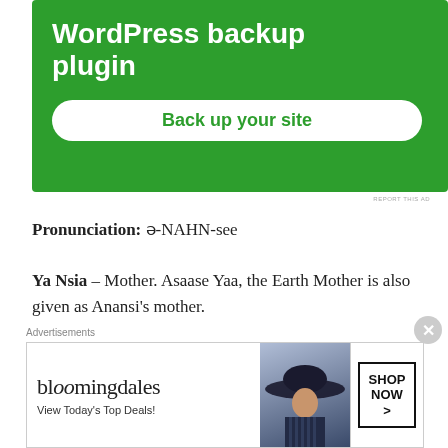[Figure (screenshot): Green advertisement banner for WordPress backup plugin with 'Back up your site' button]
Pronunciation: ə-NAHN-see
Ya Nsia – Mother. Asaase Yaa, the Earth Mother is also given as Anansi's mother.
Siblings
Where Nyame is given as Anansi's father. There's one story where Esum the Night, Osrane the Moon, and Owia
Advertisements
[Figure (screenshot): Bloomingdale's advertisement: 'View Today's Top Deals!' with SHOP NOW > button and woman in hat image]